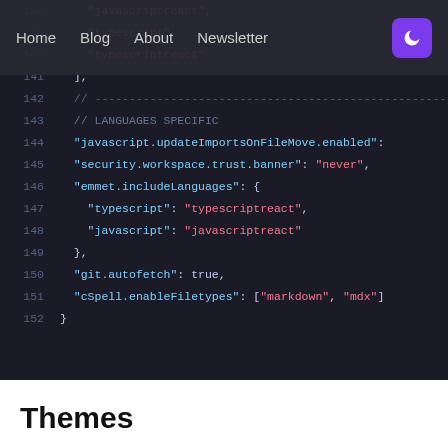[Figure (screenshot): Dark-themed code editor screenshot showing JSON configuration lines 138-152 with syntax highlighting. Pink strings, teal/white keywords, gray line numbers on dark background (#1a1b26). A navigation bar overlay with Home, Blog, About, Newsletter links and a purple dark mode button is visible at the top.]
Themes